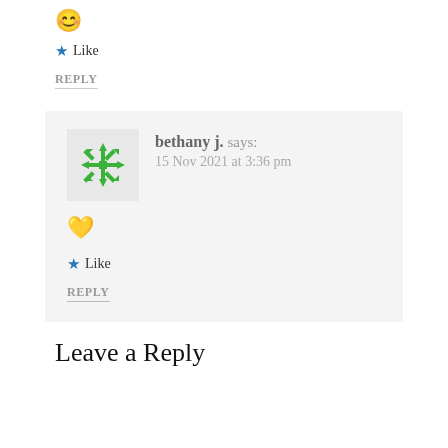[Figure (illustration): Smiley face emoji (slightly smiling)]
★ Like
REPLY
[Figure (illustration): Gravatar avatar: green quilting/snowflake pattern icon for bethany j.]
bethany j. says:
15 Nov 2021 at 3:36 pm
🧡
★ Like
REPLY
Leave a Reply